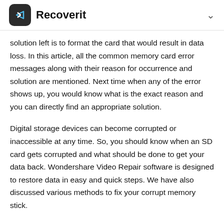Recoverit
solution left is to format the card that would result in data loss. In this article, all the common memory card error messages along with their reason for occurrence and solution are mentioned. Next time when any of the error shows up, you would know what is the exact reason and you can directly find an appropriate solution.
Digital storage devices can become corrupted or inaccessible at any time. So, you should know when an SD card gets corrupted and what should be done to get your data back. Wondershare Video Repair software is designed to restore data in easy and quick steps. We have also discussed various methods to fix your corrupt memory stick.
We hope you will be able to fix the data drive and recover